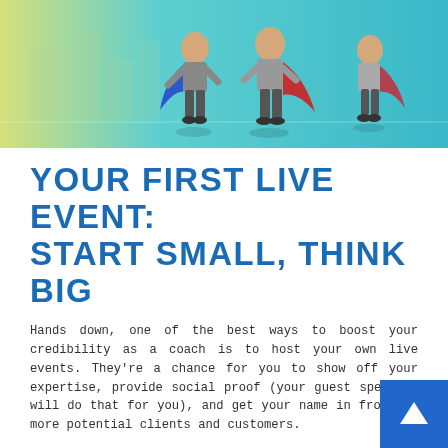[Figure (illustration): Hero banner image showing two superhero figures (one in blue cape, one in red cape) walking against a city background with teal/yellow gradient]
YOUR FIRST LIVE EVENT: START SMALL, THINK BIG
Hands down, one of the best ways to boost your credibility as a coach is to host your own live events. They're a chance for you to show off your expertise, provide social proof (your guest speakers will do that for you), and get your name in front of more potential clients and customers.
So what's holding you back?
Well, if you're like most people, it's fear. Fear of not being able to attract speakers. Fear of not being able to sell enough tickets. Fear of just putting yourself out there and saying, "I'm hosting an event."
Here's the secret though. Your event does not have to be...